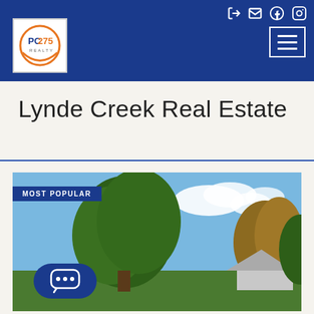[Figure (logo): PC275 Realty logo in white box with circular orange and blue design]
Lynde Creek Real Estate
[Figure (photo): Real estate property photo showing trees and sky with a house roofline visible, labeled MOST POPULAR]